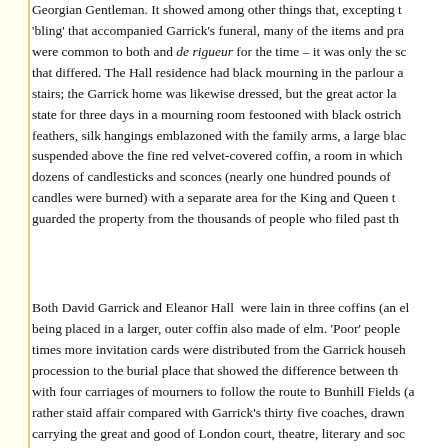Georgian Gentleman. It showed among other things that, excepting the 'bling' that accompanied Garrick's funeral, many of the items and practices were common to both and de rigueur for the time – it was only the scale that differed. The Hall residence had black mourning in the parlour and stairs; the Garrick home was likewise dressed, but the great actor lay in state for three days in a mourning room festooned with black ostrich feathers, silk hangings emblazoned with the family arms, a large black suspended above the fine red velvet-covered coffin, a room in which dozens of candlesticks and sconces (nearly one hundred pounds of candles were burned) with a separate area for the King and Queen to guarded the property from the thousands of people who filed past the
Both David Garrick and Eleanor Hall were lain in three coffins (an elm being placed in a larger, outer coffin also made of elm. 'Poor' people times more invitation cards were distributed from the Garrick household procession to the burial place that showed the difference between the with four carriages of mourners to follow the route to Bunhill Fields (a rather staid affair compared with Garrick's thirty five coaches, drawn carrying the great and good of London court, theatre, literary and society alongside them all with, at the procession's head, the High Constable way was clear. Officials and mourners alike wore specially ordered